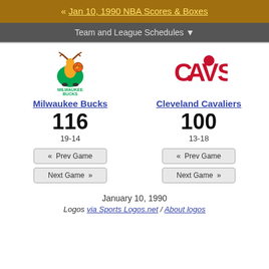« Jan 10, 1990 NBA Scores & Boxes
Team and League Schedules ▼
[Figure (logo): Milwaukee Bucks team logo with deer illustration and team name text]
Milwaukee Bucks
116
19-14
[Figure (logo): Cleveland Cavaliers CAVS red text logo]
Cleveland Cavaliers
100
13-18
«  Prev Game
Next Game  »
«  Prev Game
Next Game  »
January 10, 1990
Logos via Sports Logos.net / About logos